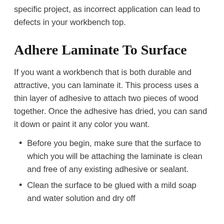specific project, as incorrect application can lead to defects in your workbench top.
Adhere Laminate To Surface
If you want a workbench that is both durable and attractive, you can laminate it. This process uses a thin layer of adhesive to attach two pieces of wood together. Once the adhesive has dried, you can sand it down or paint it any color you want.
Before you begin, make sure that the surface to which you will be attaching the laminate is clean and free of any existing adhesive or sealant.
Clean the surface to be glued with a mild soap and water solution and dry off